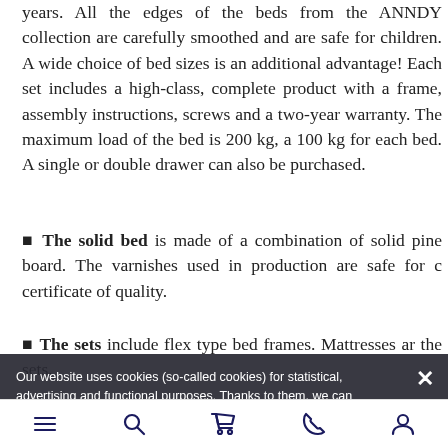years. All the edges of the beds from the ANNDY collection are carefully smoothed and are safe for children. A wide choice of bed sizes is an additional advantage! Each set includes a high-class, complete product with a frame, assembly instructions, screws and a two-year warranty. The maximum load of the bed is 200 kg, a 100 kg for each bed. A single or double drawer can also be purchased.
The solid bed is made of a combination of solid pine board. The varnishes used in production are safe for children and have a certificate of quality.
The sets include flex type bed frames. Mattresses are not included in the sets.
Our website uses cookies (so-called cookies) for statistical, advertising and functional purposes. Thanks to them, we can customize the site to your needs. Everyone can accept cookies or have the option to disable them in